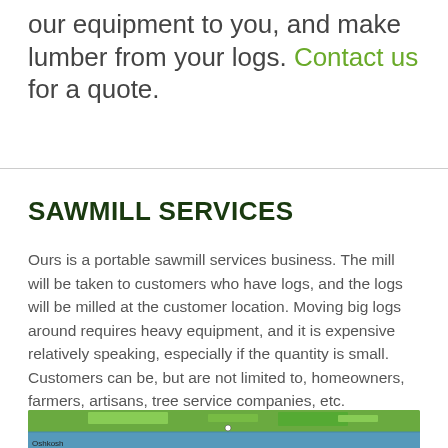our equipment to you, and make lumber from your logs. Contact us for a quote.
SAWMILL SERVICES
Ours is a portable sawmill services business. The mill will be taken to customers who have logs, and the logs will be milled at the customer location. Moving big logs around requires heavy equipment, and it is expensive relatively speaking, especially if the quantity is small. Customers can be, but are not limited to, homeowners, farmers, artisans, tree service companies, etc.
[Figure (map): Map showing a geographic area, partially visible at the bottom of the page]